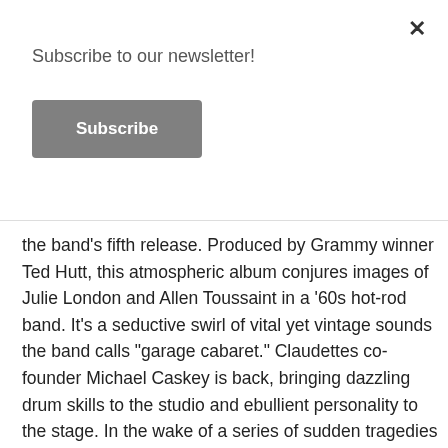Subscribe to our newsletter!
Subscribe
the band's fifth release. Produced by Grammy winner Ted Hutt, this atmospheric album conjures images of Julie London and Allen Toussaint in a '60s hot-rod band. It's a seductive swirl of vital yet vintage sounds the band calls "garage cabaret." Claudettes co-founder Michael Caskey is back, bringing dazzling drum skills to the studio and ebullient personality to the stage. In the wake of a series of sudden tragedies and deaths in the band's realmand amidst a national mood of pessimism and contention Johnny and Michael lock arms with Berit and bassist/guitarist Zach Verdoorn to create an album that wears its heart on its sleeve but (like the band's much-talked-about live shows) overflows with humor, love and a lust for fun. All songs on "High Times in the Dark" were penned by Iguana, who has recorded with